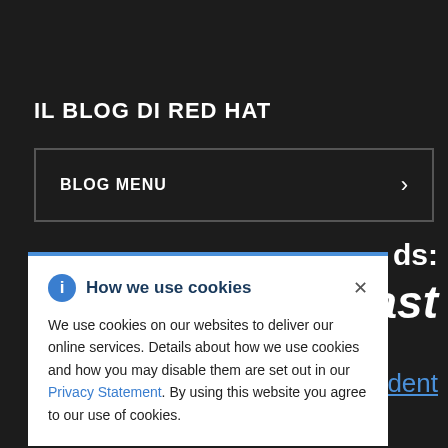IL BLOG DI RED HAT
BLOG MENU
ds: last
resident
How we use cookies
We use cookies on our websites to deliver our online services. Details about how we use cookies and how you may disable them are set out in our Privacy Statement. By using this website you agree to our use of cookies.
CONDIVIDI